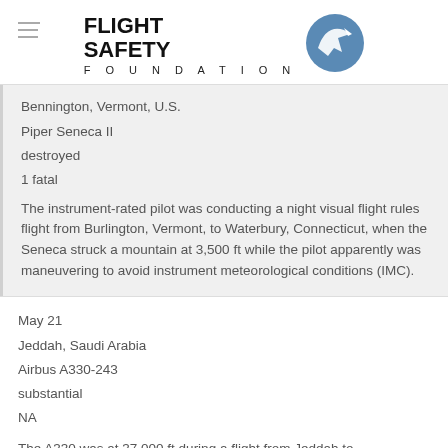[Figure (logo): Flight Safety Foundation logo with airplane icon in blue circle]
Bennington, Vermont, U.S.
Piper Seneca II
destroyed
1 fatal
The instrument-rated pilot was conducting a night visual flight rules flight from Burlington, Vermont, to Waterbury, Connecticut, when the Seneca struck a mountain at 3,500 ft while the pilot apparently was maneuvering to avoid instrument meteorological conditions (IMC).
May 21
Jeddah, Saudi Arabia
Airbus A330-243
substantial
NA
The A330 was at 37,000 ft during a flight from Jeddah to